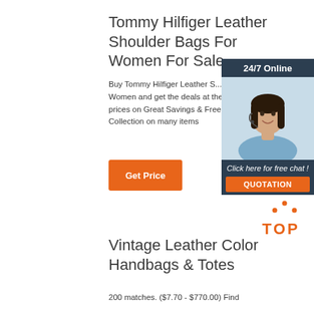Tommy Hilfiger Leather Shoulder Bags For Women For Sale
Buy Tommy Hilfiger Leather Shoulder Bags for Women and get the best deals at the lowest prices on Great Savings & Free Delivery Collection on many items
[Figure (other): Orange button labeled Get Price]
[Figure (other): Advertisement widget: 24/7 Online header, photo of woman with headset smiling, Click here for free chat!, orange QUOTATION button]
[Figure (logo): TOP logo with orange dots and text]
Vintage Leather Color Handbags & Totes
200 matches. ($7.70 - $770.00) Find